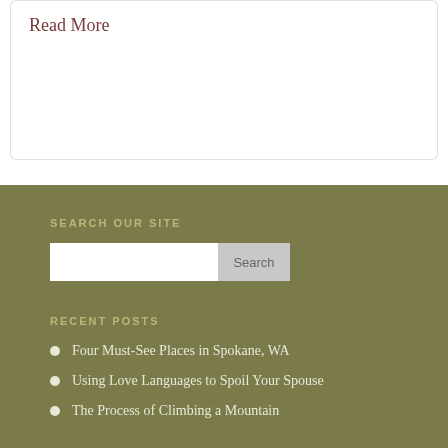Read More
SEARCH OUR SITE
RECENT POSTS
Four Must-See Places in Spokane, WA
Using Love Languages to Spoil Your Spouse
The Process of Climbing a Mountain